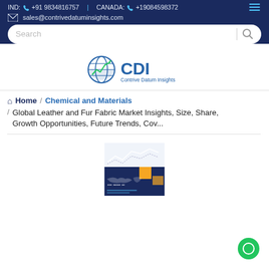IND: +91 9834816757 | CANADA: +19084598372
sales@contrivedatuminsights.com
[Figure (logo): CDI - Contrive Datum Insights globe logo with arrow chart and text]
Home / Chemical and Materials / Global Leather and Fur Fabric Market Insights, Size, Share, Growth Opportunities, Future Trends, Cov...
[Figure (photo): Report cover thumbnail showing market research report with world map and CDI branding]